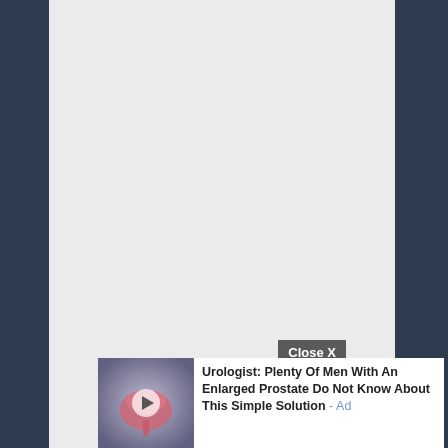[Figure (screenshot): A webpage screenshot showing a large light-grey blank content area in the center, flanked by dark navy-blue sidebars on left and right. At the bottom is an advertisement widget with a 'Close X' button and a video thumbnail of a medical illustration (prostate/urinary anatomy in pink/red tones on a grey background with a play button). The ad text reads: 'Urologist: Plenty Of Men With An Enlarged Prostate Do Not Know About This Simple Solution - Ad']
Urologist: Plenty Of Men With An Enlarged Prostate Do Not Know About This Simple Solution - Ad